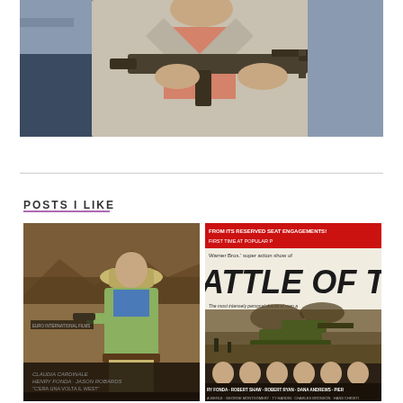[Figure (photo): A person in a light-colored trench coat holding a submachine gun, close-up action shot from a film]
POSTS I LIKE
[Figure (photo): Movie poster for 'C'era una volta il West' (Once Upon a Time in the West) featuring a man in a safari hat and green jacket, with Italian credits including Claudia Cardinale, Henry Fonda, Jason Robards]
[Figure (photo): Movie poster for 'Battle of the Bulge' - Warner Bros. super action show, featuring Henry Fonda, Robert Shaw, Robert Ryan, Dana Andrews, with tanks in battle scene, text reads 'FROM ITS RESERVED SEAT ENGAGEMENTS! FIRST TIME AT POPULAR' and actors listed at bottom]